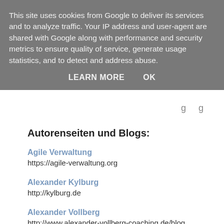This site uses cookies from Google to deliver its services and to analyze traffic. Your IP address and user-agent are shared with Google along with performance and security metrics to ensure quality of service, generate usage statistics, and to detect and address abuse.
LEARN MORE    OK
Autorenseiten und Blogs:
Agile Verwaltung
https://agile-verwaltung.org
Alexander Kylburg
http://kylburg.de
Alexander Vollberg
http://www.alexander-vollberg-coaching.de/blog